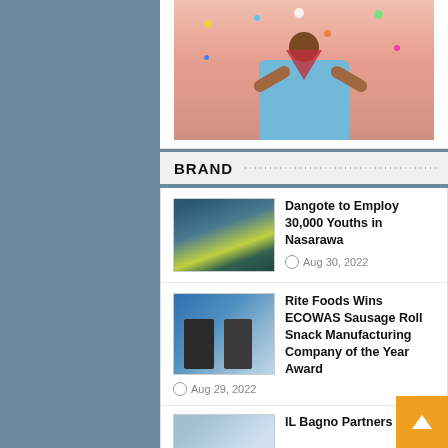[Figure (photo): Woman in blue dress with arms raised, confetti falling around her, pink background]
BRAND
[Figure (photo): Aerial view of Dangote industrial facility]
Dangote to Employ 30,000 Youths in Nasarawa
Aug 30, 2022
[Figure (photo): Rite Foods award ceremony with people in suits]
Rite Foods Wins ECOWAS Sausage Roll Snack Manufacturing Company of the Year Award
Aug 29, 2022
[Figure (photo): IL Bagno Partners thumbnail]
IL Bagno Partners